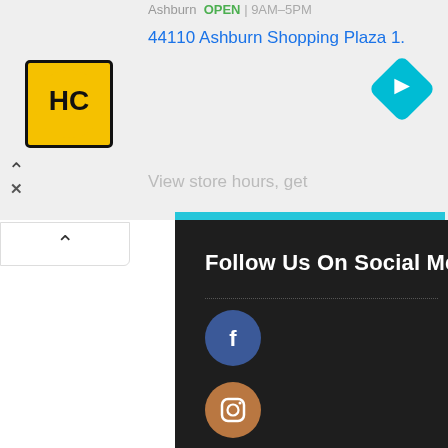[Figure (screenshot): Top ad banner showing HC logo, address '44110 Ashburn Shopping Plaza 1.', navigation arrow icon, open hours text, and 'View store hours, get' text. Gray background with mobile UI elements.]
Follow Us On Social Media
[Figure (illustration): Facebook circular icon - blue circle with white 'f' letter]
[Figure (illustration): Instagram circular icon - brown/tan circle with white camera icon]
[Figure (illustration): LinkedIn circular icon - blue circle with white 'in' text]
[Figure (illustration): Twitter circular icon - light blue circle with white bird icon]
[Figure (illustration): YouTube circular icon - red circle with white YouTube play button logo]